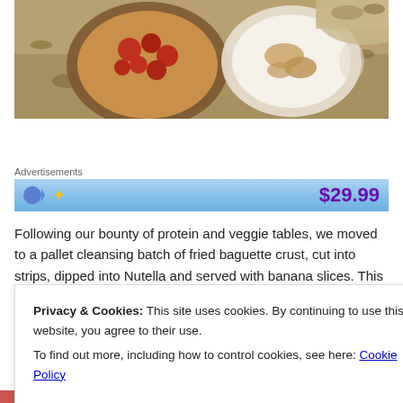[Figure (photo): Overhead view of bowls with food items on sandy ground with leaves — one bowl has round reddish items, another white bowl has browned items]
Advertisements
[Figure (other): Advertisement banner with blue gradient background, star icon on left, and price $29.99 in purple on right]
Following our bounty of protein and veggie tables, we moved to a pallet cleansing batch of fried baguette crust, cut into strips, dipped into Nutella and served with banana slices. This was particularly
Privacy & Cookies: This site uses cookies. By continuing to use this website, you agree to their use.
To find out more, including how to control cookies, see here: Cookie Policy
Close and accept